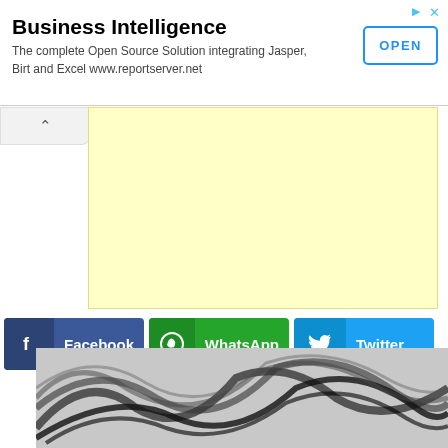[Figure (screenshot): Advertisement banner for Business Intelligence software. Title: 'Business Intelligence'. Subtitle: 'The complete Open Source Solution integrating Jasper, Birt and Excel www.reportserver.net'. OPEN button on the right.]
[Figure (other): Yellow placeholder advertisement box]
[Figure (infographic): Social share buttons: Facebook (dark blue), WhatsApp (green), Twitter (blue), Reddit (orange-red), Pinterest (dark red)]
[Figure (photo): Black and white photo of hair strands at bottom of page]